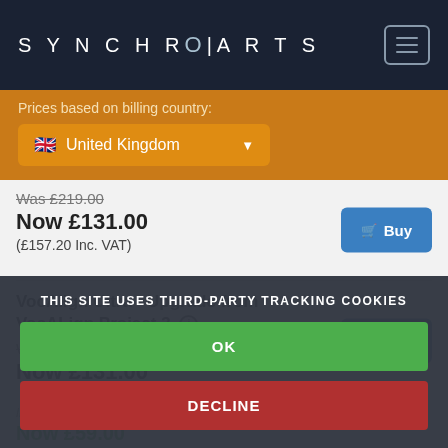SYNCHRO ARTS
Prices based on billing country:
United Kingdom
Was £219.00
Now £131.00
(£157.20 Inc. VAT)
VocAlign Ultra - Upgrade from VocALign Project 3
Was £219.00
Now £131.00
THIS SITE USES THIRD-PARTY TRACKING COOKIES
OK
DECLINE
license on surrender...
Now £59.00